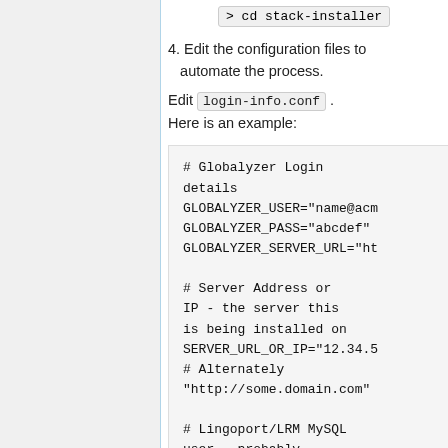[Figure (screenshot): Command line box showing: > cd stack-installer]
4. Edit the configuration files to automate the process.
Edit login-info.conf . Here is an example:
# Globalyzer Login details
GLOBALYZER_USER="name@acm
GLOBALYZER_PASS="abcdef"
GLOBALYZER_SERVER_URL="ht

# Server Address or IP - the server this is being installed on
SERVER_URL_OR_IP="12.34.5
# Alternately
"http://some.domain.com"

# Lingoport/LRM MySQL user - probably doesn't need to be